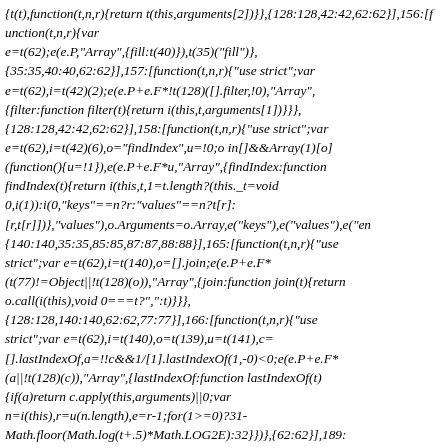{t(t),function(t,n,r){return t(this,arguments[2])}},{128:128,42:42,62:62}],156:[function(t,n,r){var e=t(62);e(e.P,"Array",{fill:t(40)}),t(35)("fill"},{35:35,40:40,62:62}],157:[function(t,n,r){"use strict";var e=t(62),i=t(42)(2);e(e.P+e.F*!t(128)([].filter,!0),"Array",{filter:function filter(t){return i(this,t,arguments[1])}}},{128:128,42:42,62:62}],158:[function(t,n,r){"use strict";var e=t(62),i=t(42)(6),o="findIndex",u=!0;o in[]&&Array(1)[o](function(){u=!1}),e(e.P+e.F*u,"Array",{findIndex:function findIndex(t){return i(this,t,1=t.length?(this._t=void 0,i(1)):i(0,"keys"==n?r:"values"==n?t[r]:[r,t[r]])},"values"),o.Arguments=o.Array,e("keys"),e("values"),e("en {140:140,35:35,85:85,87:87,88:88}],165:[function(t,n,r){"use strict";var e=t(62),i=t(140),o=[].join;e(e.P+e.F*(t(77)!=Object||!t(128)(o)),"Array",{join:function join(t){return o.call(i(this),void 0===t?",":t)}}},{128:128,140:140,62:62,77:77}],166:[function(t,n,r){"use strict";var e=t(62),i=t(140),o=t(139),u=t(141),c=[].lastIndexOf,a=!!c&&1/[1].lastIndexOf(1,-0)<0;e(e.P+e.F*(a||!t(128)(c)),"Array",{lastIndexOf:function lastIndexOf(t){if(a)return c.apply(this,arguments)||0;var n=i(this),r=u(n.length),e=r-1;for(1>=0)?31-Math.floor(Math.log(t+.5)*Math.LOG2E):32}})},{62:62}],189:[function(t,n,r){var e=t(62),i=Math.exp;e(e.S,"Math",{cosh:function cosh(t){return(i(t=+t)+i(-t))/2}})},{62:62}],190:[function(t,n,r){var e=t(62),i=t(90);e(e.S+e.F*